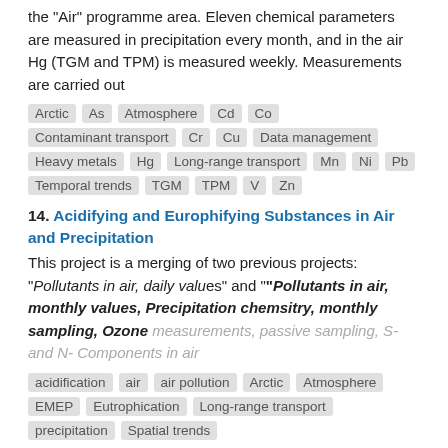the "Air" programme area. Eleven chemical parameters are measured in precipitation every month, and in the air Hg (TGM and TPM) is measured weekly. Measurements are carried out
Arctic As Atmosphere Cd Co Contaminant transport Cr Cu Data management Heavy metals Hg Long-range transport Mn Ni Pb Temporal trends TGM TPM V Zn
14. Acidifying and Europhifying Substances in Air and Precipitation
This project is a merging of two previous projects: "Pollutants in air, daily values" and "Pollutants in air, monthly values, Precipitation chemsitry, monthly sampling, Ozone measurements, passive sampling, S- and N- Components in air
acidification air air pollution Arctic Atmosphere EMEP Eutrophication Long-range transport precipitation Spatial trends
15. Measurements of climate-influencing substances on Svalbard
National Environmental Monitoring in Sweden in the "Air" programme. The objective of the project is to follow climate-